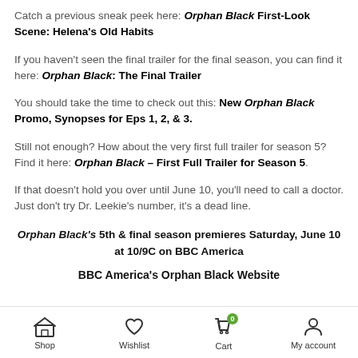Catch a previous sneak peek here: Orphan Black First-Look Scene: Helena's Old Habits
If you haven't seen the final trailer for the final season, you can find it here: Orphan Black: The Final Trailer
You should take the time to check out this: New Orphan Black Promo, Synopses for Eps 1, 2, & 3.
Still not enough? How about the very first full trailer for season 5? Find it here: Orphan Black – First Full Trailer for Season 5.
If that doesn't hold you over until June 10, you'll need to call a doctor. Just don't try Dr. Leekie's number, it's a dead line.
Orphan Black's 5th & final season premieres Saturday, June 10 at 10/9C on BBC America
BBC America's Orphan Black Website
Shop  Wishlist  Cart  My account